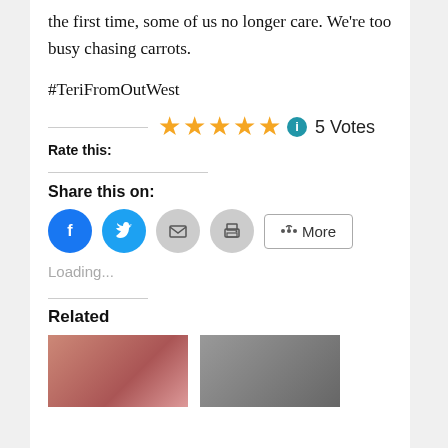the first time, some of us no longer care. We're too busy chasing carrots.
#TeriFromOutWest
[Figure (other): 5-star rating widget showing 5 gold stars, an info icon, and '5 Votes' with a 'Rate this:' label below]
Share this on:
[Figure (other): Social sharing buttons: Facebook (blue circle), Twitter (blue circle), Email (grey circle), Print (grey circle), and a More button]
Loading...
Related
[Figure (photo): Two related article thumbnail images at the bottom of the page]